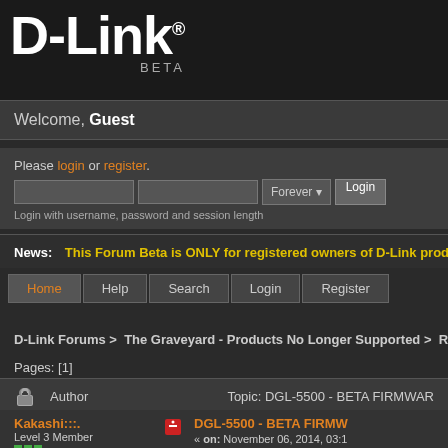[Figure (logo): D-Link logo with registered trademark symbol, white text on dark background, with BETA label below]
Welcome, Guest
Please login or register.
Login with username, password and session length
News: This Forum Beta is ONLY for registered owners of D-Link products in th
Home  Help  Search  Login  Register
D-Link Forums > The Graveyard - Products No Longer Supported > Routers / C
Pages: [1]
|  | Author | Topic: DGL-5500 - BETA FIRMWAR |
| --- | --- | --- |
|  | Kakashi:::.
Level 3 Member
Posts: 270 | DGL-5500 - BETA FIRMW
« on: November 06, 2014, 03:1 |